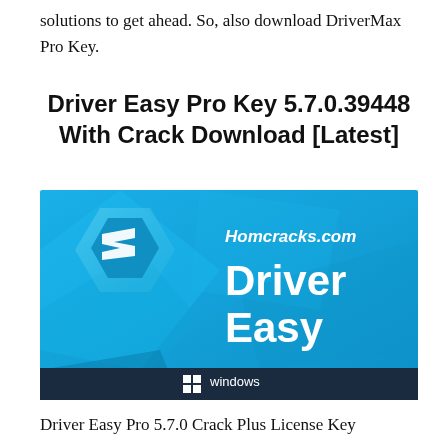solutions to get ahead. So, also download DriverMax Pro Key.
Driver Easy Pro Key 5.7.0.39448 With Crack Download [Latest]
[Figure (screenshot): Driver Easy software promotional banner with blue background, hexagonal logo on left, italic text 'Homcracks.com' at top right, bold text 'Driver Easy' in center right, Windows logo and 'windows' text at bottom center.]
Driver Easy Pro 5.7.0 Crack Plus License Key